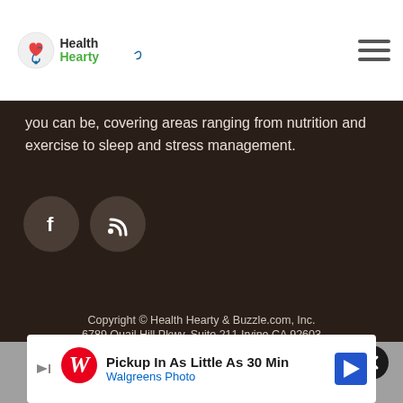HealthHearty
you can be, covering areas ranging from nutrition and exercise to sleep and stress management.
[Figure (illustration): Two social media icon buttons: Facebook (f) and RSS feed icons as dark circular buttons]
Copyright © Health Hearty & Buzzle.com, Inc. 6789 Quail Hill Pkwy, Suite 211 Irvine CA 92603
Privacy Policy
Terms of Use
Contact Us
[Figure (screenshot): Walgreens Photo advertisement banner: Pickup In As Little As 30 Min - Walgreens Photo]